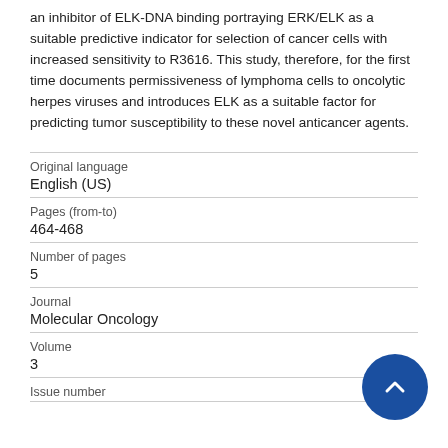an inhibitor of ELK-DNA binding portraying ERK/ELK as a suitable predictive indicator for selection of cancer cells with increased sensitivity to R3616. This study, therefore, for the first time documents permissiveness of lymphoma cells to oncolytic herpes viruses and introduces ELK as a suitable factor for predicting tumor susceptibility to these novel anticancer agents.
| Field | Value |
| --- | --- |
| Original language | English (US) |
| Pages (from-to) | 464-468 |
| Number of pages | 5 |
| Journal | Molecular Oncology |
| Volume | 3 |
| Issue number |  |